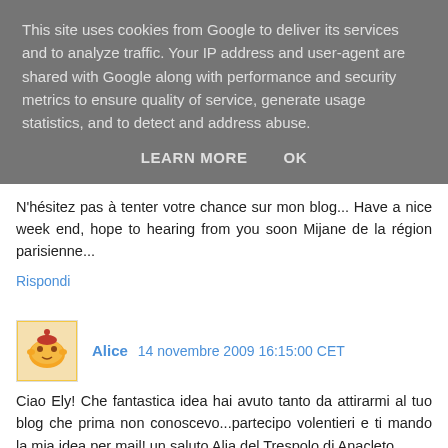This site uses cookies from Google to deliver its services and to analyze traffic. Your IP address and user-agent are shared with Google along with performance and security metrics to ensure quality of service, generate usage statistics, and to detect and address abuse.
LEARN MORE    OK
N'hésitez pas à tenter votre chance sur mon blog... Have a nice week end, hope to hearing from you soon Mijane de la région parisienne...
Rispondi
Alice  14 novembre 2009 16:15:00 CET
Ciao Ely! Che fantastica idea hai avuto tanto da attirarmi al tuo blog che prima non conoscevo...partecipo volentieri e ti mando la mia idea per mail! un saluto Alia del Trespolo di Anacleto
Rispondi